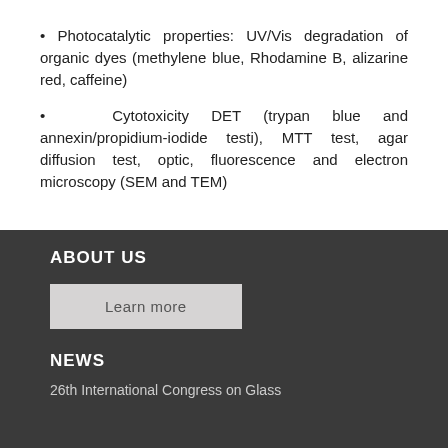• Photocatalytic properties: UV/Vis degradation of organic dyes (methylene blue, Rhodamine B, alizarine red, caffeine)
• Cytotoxicity DET (trypan blue and annexin/propidium-iodide testi), MTT test, agar diffusion test, optic, fluorescence and electron microscopy (SEM and TEM)
ABOUT US
Learn more
NEWS
26th International Congress on Glass